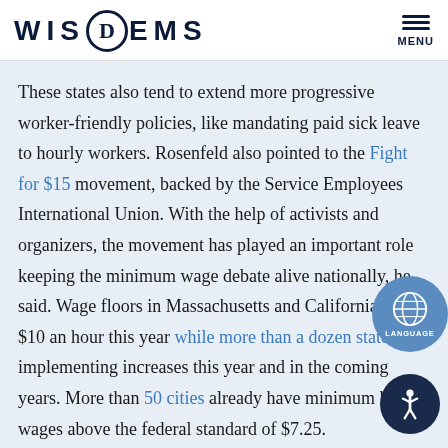WIS DEMS — MENU
These states also tend to extend more progressive worker-friendly policies, like mandating paid sick leave to hourly workers. Rosenfeld also pointed to the Fight for $15 movement, backed by the Service Employees International Union. With the help of activists and organizers, the movement has played an important role keeping the minimum wage debate alive nationally, he said. Wage floors in Massachusetts and California hit $10 an hour this year while more than a dozen states are implementing increases this year and in the coming years. More than 50 cities already have minimum hourly wages above the federal standard of $7.25.
The federal minimum wage in 1970s, if it were adjusted